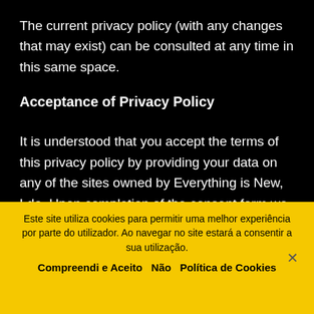The current privacy policy (with any changes that may exist) can be consulted at any time in this same space.
Acceptance of Privacy Policy
It is understood that you accept the terms of this privacy policy by providing your data on any of the sites owned by Everything is New, Lda. Upon completion of the consent form we assume that you authorize the automated processing and
Este site utiliza cookies para permitir uma melhor experiência por parte do utilizador. Ao navegar no site estará a consentir a sua utilização.
Compreendi e Aceito   Não   Política de Cookies